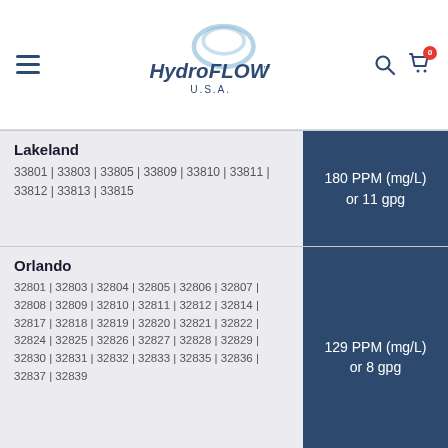HydroFLOW U.S.A. navigation bar
| City / ZIP Codes | Water Hardness |
| --- | --- |
| Lakeland
33801 | 33803 | 33805 | 33809 | 33810 | 33811 | 33812 | 33813 | 33815 | 180 PPM (mg/L) or 11 gpg |
| Orlando
32801 | 32803 | 32804 | 32805 | 32806 | 32807 | 32808 | 32809 | 32810 | 32811 | 32812 | 32814 | 32817 | 32818 | 32819 | 32820 | 32821 | 32822 | 32824 | 32825 | 32826 | 32827 | 32828 | 32829 | 32830 | 32831 | 32832 | 32833 | 32835 | 32836 | 32837 | 32839 | 129 PPM (mg/L) or 8 gpg |
| Palm Bay
32905 | 32907 | 32908 | 32909 | 103 PPM (mg/L) or 6 gpg |